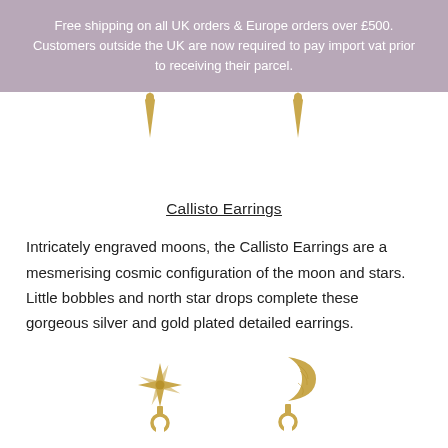Free shipping on all UK orders & Europe orders over £500. Customers outside the UK are now required to pay import vat prior to receiving their parcel.
[Figure (photo): Two gold earring tops (spike/drop shapes) visible at top of page, partially cropped]
Callisto Earrings
Intricately engraved moons, the Callisto Earrings are a mesmerising cosmic configuration of the moon and stars. Little bobbles and north star drops complete these gorgeous silver and gold plated detailed earrings.
[Figure (photo): Two gold plated earrings: left is a north star/starburst shape with a small hoop drop, right is a crescent moon shape with a small hoop drop]